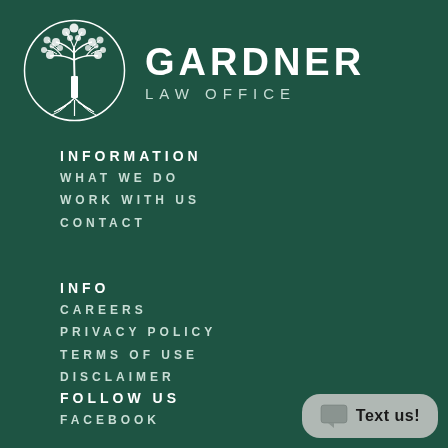[Figure (logo): Gardner Law Office logo: white tree with roots inside a circle, on dark green background]
GARDNER LAW OFFICE
INFORMATION
WHAT WE DO
WORK WITH US
CONTACT
INFO
CAREERS
PRIVACY POLICY
TERMS OF USE
DISCLAIMER
FOLLOW US
FACEBOOK
Text us!